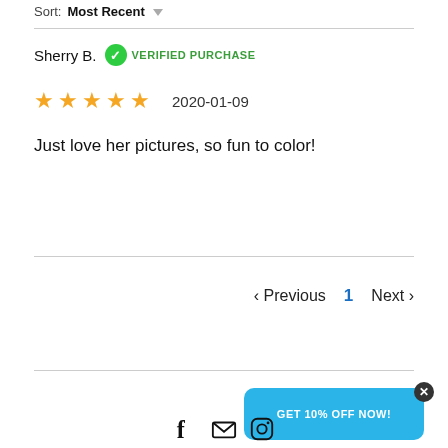Sort: Most Recent
Sherry B. VERIFIED PURCHASE
★★★★★ 2020-01-09
Just love her pictures, so fun to color!
< Previous 1 Next >
[Figure (other): GET 10% OFF NOW! popup button with close X]
[Figure (other): Footer social icons: Facebook, Email, Instagram]